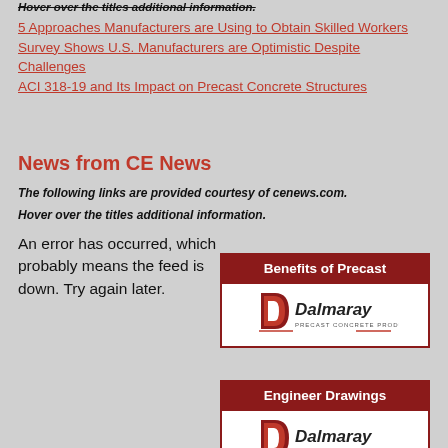Hover over the titles additional information.
5 Approaches Manufacturers are Using to Obtain Skilled Workers
Survey Shows U.S. Manufacturers are Optimistic Despite Challenges
ACI 318-19 and Its Impact on Precast Concrete Structures
News from CE News
The following links are provided courtesy of cenews.com.
Hover over the titles additional information.
An error has occurred, which probably means the feed is down. Try again later.
[Figure (logo): Benefits of Precast banner with Dalmaray Precast Concrete Products logo]
[Figure (logo): Engineer Drawings banner with Dalmaray Precast Concrete Products logo]